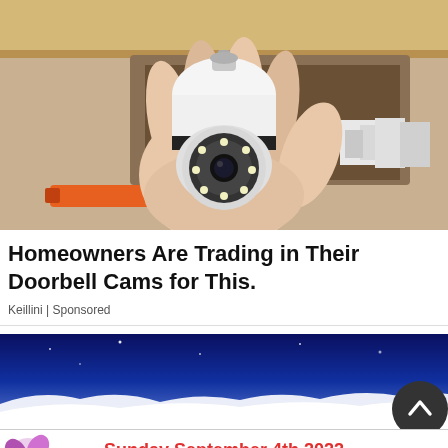[Figure (photo): A hand holding a white bulb-shaped security camera device against a wooden shelf background with boxes visible. The camera has a globe-shaped head with LED lights arranged around a central lens.]
Homeowners Are Trading in Their Doorbell Cams for This.
Keillini | Sponsored
[Figure (photo): A second advertisement image showing a dark blue night sky with white clouds or waves at the bottom. Has a circular scroll-to-top button in the lower right.]
[Figure (infographic): White banner advertisement reading 'Sunday September 4th 2022' in red bold text, with '9 am - 6 pm | This is a Free Event | 90+ Vendors' below. Orange decorative elements on sides.]